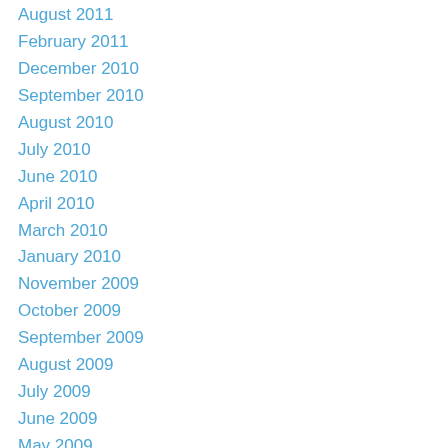August 2011
February 2011
December 2010
September 2010
August 2010
July 2010
June 2010
April 2010
March 2010
January 2010
November 2009
October 2009
September 2009
August 2009
July 2009
June 2009
May 2009
April 2009
March 2009
February 2009